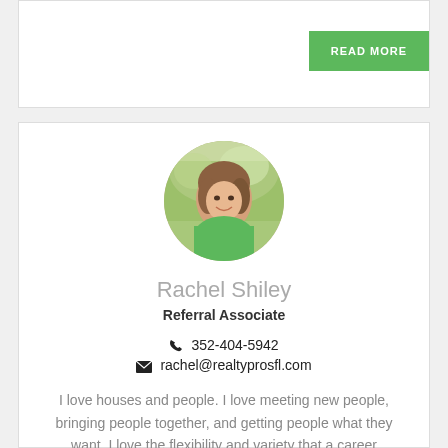[Figure (other): Top card with READ MORE green button]
[Figure (photo): Circular headshot photo of Rachel Shiley, a woman in a green top outdoors]
Rachel Shiley
Referral Associate
352-404-5942
rachel@realtyprosfl.com
I love houses and people. I love meeting new people, bringing people together, and getting people what they want. I love the flexibility and variety that a career